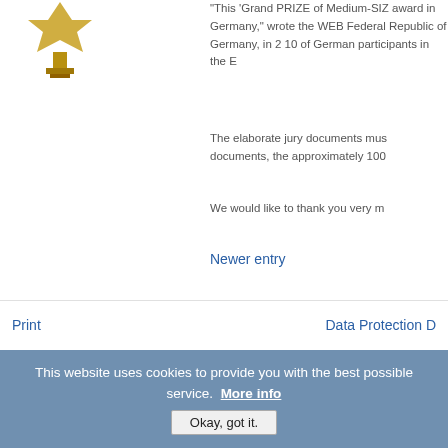[Figure (photo): Small golden trophy/award figurine]
"This 'Grand PRIZE of Medium-SIZ award in Germany,' wrote the WEB Federal Republic of Germany, in 2 10 of German participants in the E
The elaborate jury documents mus documents, the approximately 100
We would like to thank you very m
Newer entry
Print   Data Protection D